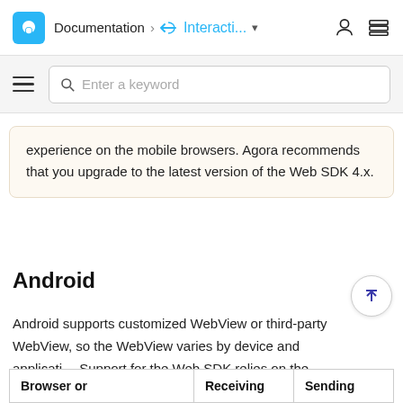Documentation > Interacti... (dropdown) [user icon] [menu icon]
Enter a keyword
experience on the mobile browsers. Agora recommends that you upgrade to the latest version of the Web SDK 4.x.
Android
Android supports customized WebView or third-party WebView, so the WebView varies by device and application. Support for the Web SDK relies on the application version and hardware.
| Browser or | Receiving | Sending |
| --- | --- | --- |